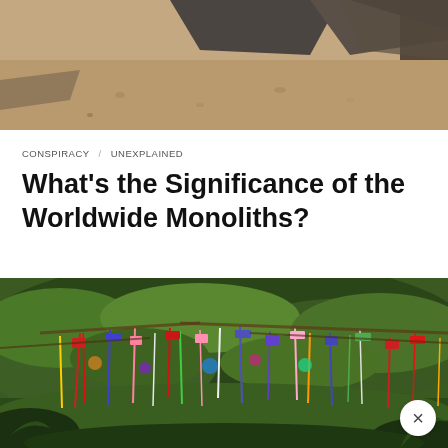[Figure (photo): Top portion of a photo showing sandy/rocky ground with some dark objects, partially cropped]
CONSPIRACY / UNEXPLAINED
What's the Significance of the Worldwide Monoliths?
[Figure (photo): Trees and bushes decorated with colorful ribbons, flags, and hanging decorations in a lush green forest setting. A close button (×) appears in the bottom right corner.]